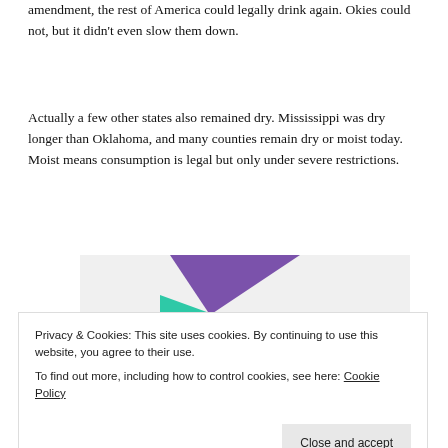amendment, the rest of America could legally drink again. Okies could not, but it didn't even slow them down.
Actually a few other states also remained dry. Mississippi was dry longer than Oklahoma, and many counties remain dry or moist today. Moist means consumption is legal but only under severe restrictions.
[Figure (illustration): Advertisement banner showing geometric shapes (green triangle, purple triangle, light blue quarter circle) on a light gray background with bold text 'How to start selling subscriptions online']
Privacy & Cookies: This site uses cookies. By continuing to use this website, you agree to their use.
To find out more, including how to control cookies, see here: Cookie Policy
Close and accept